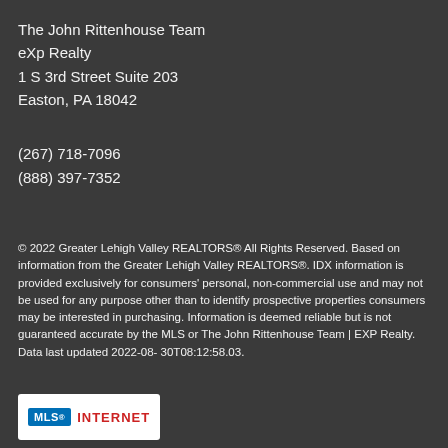The John Rittenhouse Team
eXp Realty
1 S 3rd Street Suite 203
Easton, PA 18042

(267) 718-7096
(888) 397-7352
© 2022 Greater Lehigh Valley REALTORS® All Rights Reserved. Based on information from the Greater Lehigh Valley REALTORS®. IDX information is provided exclusively for consumers' personal, non-commercial use and may not be used for any purpose other than to identify prospective properties consumers may be interested in purchasing. Information is deemed reliable but is not guaranteed accurate by the MLS or The John Rittenhouse Team | EXP Realty. Data last updated 2022-08-30T08:12:58.03.
[Figure (logo): MLS Internet logo badge with blue MLS® text and red INTERNET text on white background]